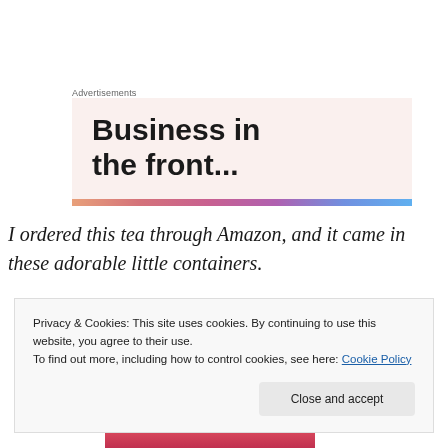Advertisements
[Figure (illustration): Advertisement banner with pink/cream background reading 'Business in the front...' in bold black text, with a multicolor gradient stripe at the bottom]
I ordered this tea through Amazon, and it came in these adorable little containers.
[Figure (photo): Partial photo of containers, partially obscured by cookie banner]
Privacy & Cookies: This site uses cookies. By continuing to use this website, you agree to their use.
To find out more, including how to control cookies, see here: Cookie Policy
Close and accept